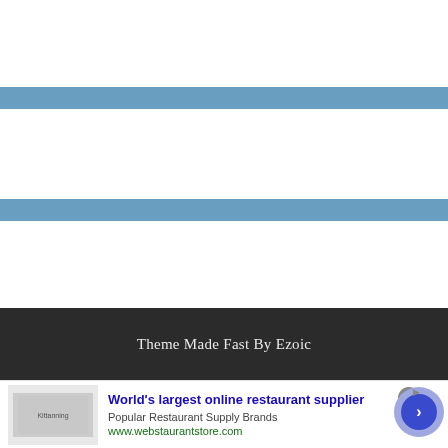[Figure (other): White block area at top of webpage]
[Figure (other): Blue horizontal navigation/header bar]
[Figure (other): White content block area]
[Figure (other): Second blue horizontal bar]
[Figure (other): White content block area]
Theme Made Fast By Ezoic
[Figure (other): Advertisement banner: World's largest online restaurant supplier, Popular Restaurant Supply Brands, www.webstaurantstore.com]